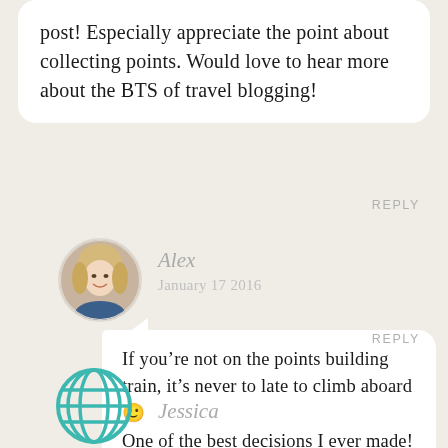post! Especially appreciate the point about collecting points. Would love to hear more about the BTS of travel blogging!
REPLY
[Figure (photo): Circular avatar photo of Alex, a woman with blonde hair smiling]
Alex
January 17 2016
If you’re not on the points building train, it’s never to late to climb aboard 🙂 One of the best decisions I ever made!
REPLY
[Figure (illustration): Circular globe/world icon in teal color]
Jessica